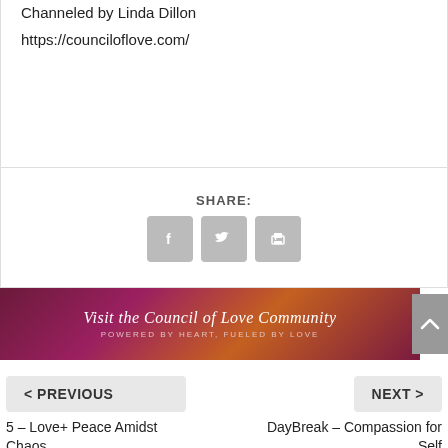Channeled by Linda Dillon
https://counciloflove.com/
SHARE:
[Figure (infographic): Share icons: Facebook, Twitter, and Print buttons rendered as grey rounded square icons]
[Figure (illustration): Banner image with purple/pink floral background reading 'Visit the Council of Love Community' with subtitle 'Powered by Heart, Fueled by Love']
< PREVIOUS
5 – Love+ Peace Amidst Chaos
NEXT >
DayBreak – Compassion for Self